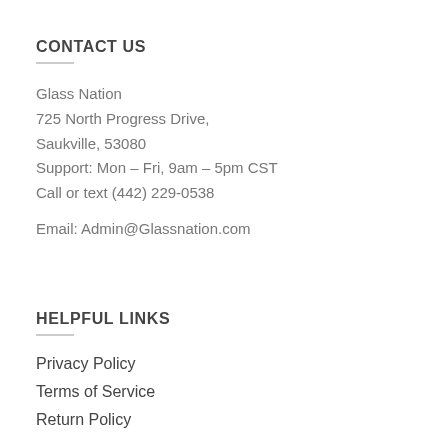CONTACT US
Glass Nation
725 North Progress Drive,
Saukville, 53080
Support: Mon – Fri, 9am – 5pm CST
Call or text (442) 229-0538
Email: Admin@Glassnation.com
HELPFUL LINKS
Privacy Policy
Terms of Service
Return Policy